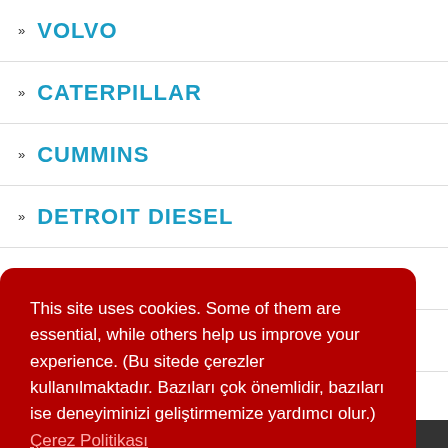» VOLVO
» CATERPILLAR
» CUMMINS
» DETROIT DIESEL
» FORD
» JOHN DEERE
» MACK
This site uses cookies. Some of them are essential, while others help us improve your experience. (Bu sitede çerezler kullanılmaktadır. Bazıları çok önemlidir, bazıları ise deneyiminizi geliştirmemize yardımcı olur.) Çerez Politikası
Accept(Anladım!)
+90 212 771 56 05 (Pbx)